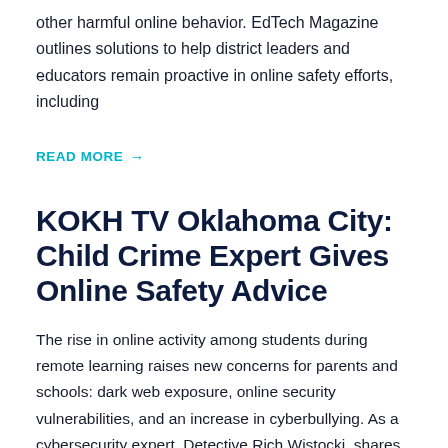other harmful online behavior. EdTech Magazine outlines solutions to help district leaders and educators remain proactive in online safety efforts, including
READ MORE →
KOKH TV Oklahoma City: Child Crime Expert Gives Online Safety Advice
The rise in online activity among students during remote learning raises new concerns for parents and schools: dark web exposure, online security vulnerabilities, and an increase in cyberbullying. As a cybersecurity expert, Detective Rich Wistocki, shares action items and technology